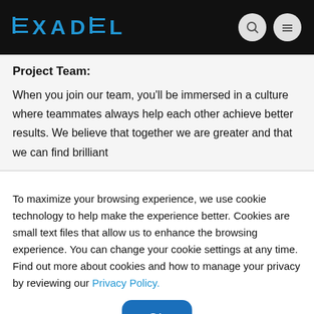EXADEL
Project Team:
When you join our team, you'll be immersed in a culture where teammates always help each other achieve better results. We believe that together we are greater and that we can find brilliant
To maximize your browsing experience, we use cookie technology to help make the experience better. Cookies are small text files that allow us to enhance the browsing experience. You can change your cookie settings at any time.
Find out more about cookies and how to manage your privacy by reviewing our Privacy Policy.
Ok